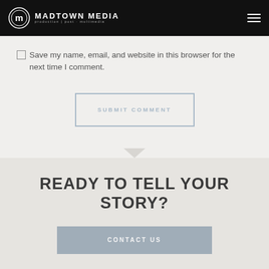[Figure (logo): Madtown Media logo with circular M icon and text 'MADTOWN MEDIA' on black header bar with hamburger menu icon on right]
Save my name, email, and website in this browser for the next time I comment.
SUBMIT COMMENT
READY TO TELL YOUR STORY?
CONTACT US